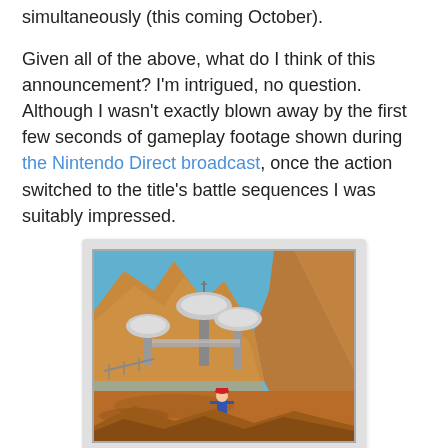simultaneously (this coming October).
Given all of the above, what do I think of this announcement? I'm intrigued, no question. Although I wasn't exactly blown away by the first few seconds of gameplay footage shown during the Nintendo Direct broadcast, once the action switched to the title's battle sequences I was suitably impressed.
[Figure (screenshot): Screenshot of a Pokemon game showing a player character standing in a desert-like canyon environment with dome-shaped buildings in the background and a blue sky.]
As such, the main questions that are now bouncing around in my mind are: which version do I buy, and which starter do I select? (At the moment, I'm thinking I'll go with Y and